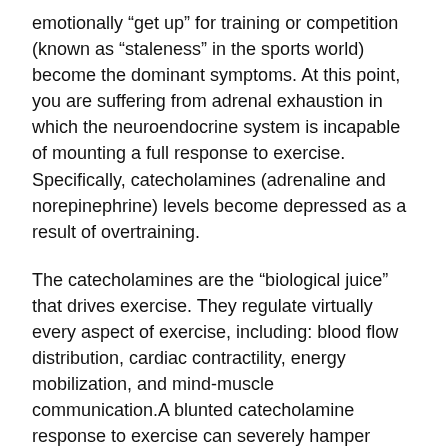emotionally “get up” for training or competition (known as “staleness” in the sports world) become the dominant symptoms. At this point, you are suffering from adrenal exhaustion in which the neuroendocrine system is incapable of mounting a full response to exercise. Specifically, catecholamines (adrenaline and norepinephrine) levels become depressed as a result of overtraining.
The catecholamines are the “biological juice” that drives exercise. They regulate virtually every aspect of exercise, including: blood flow distribution, cardiac contractility, energy mobilization, and mind-muscle communication.A blunted catecholamine response to exercise can severely hamper performance.
– Thank to Rob Faigin for the awesome info on Natural Hormone Enhancement